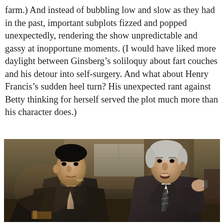farm.) And instead of bubbling low and slow as they had in the past, important subplots fizzed and popped unexpectedly, rendering the show unpredictable and gassy at inopportune moments. (I would have liked more daylight between Ginsberg’s soliloquy about fart couches and his detour into self-surgery. And what about Henry Francis’s sudden heel turn? His unexpected rant against Betty thinking for herself served the plot much more than his character does.)
[Figure (photo): Two men in suits facing each other in an indoor setting. The man on the left wears a dark suit with a tie, and the man on the right has silver hair and appears to be speaking, holding something in his hand. The background shows a dimly lit room with warm tones. Scene from Mad Men TV show.]